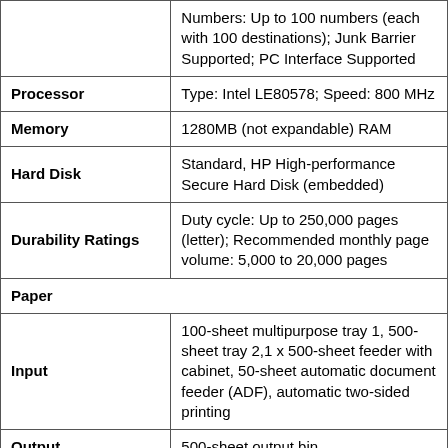| Feature | Details |
| --- | --- |
|  | Numbers: Up to 100 numbers (each with 100 destinations); Junk Barrier Supported; PC Interface Supported |
| Processor | Type: Intel LE80578; Speed: 800 MHz |
| Memory | 1280MB (not expandable) RAM |
| Hard Disk | Standard, HP High-performance Secure Hard Disk (embedded) |
| Durability Ratings | Duty cycle: Up to 250,000 pages (letter); Recommended monthly page volume: 5,000 to 20,000 pages |
| Paper |  |
| Input | 100-sheet multipurpose tray 1, 500-sheet tray 2,1 x 500-sheet feeder with cabinet, 50-sheet automatic document feeder (ADF), automatic two-sided printing |
| Output | 500-sheet output bin |
|  | Paper (plain, light, bond, recycled, cardstock), transparency, labels |